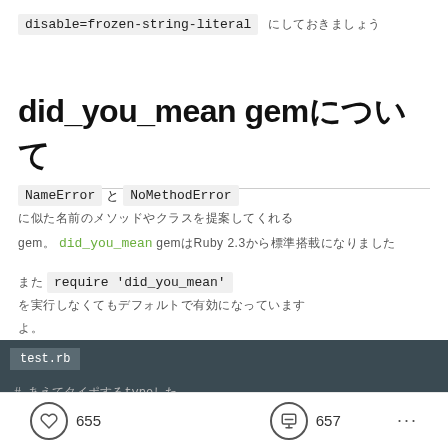disable=frozen-string-literal　（Japanese characters）
did_you_mean gem（Japanese characters）
NameError と NoMethodError （Japanese characters） did_you_mean gem、Ruby 2.3（Japanese characters）
また require 'did_you_mean' （Japanese characters）
[Figure (screenshot): Code block with dark background showing filename tab 'test.rb' and a comment line with Japanese text and 'typo']
655  657  ...